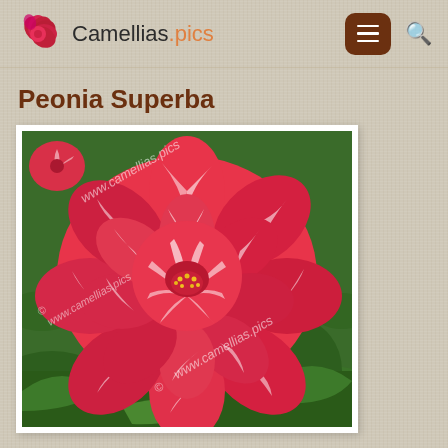Camellias.pics
Peonia Superba
[Figure (photo): Close-up photograph of a Peonia Superba camellia flower with red and white striped petals, surrounded by green leaves. Watermark text 'www.camellias.pics' appears multiple times diagonally across the image.]